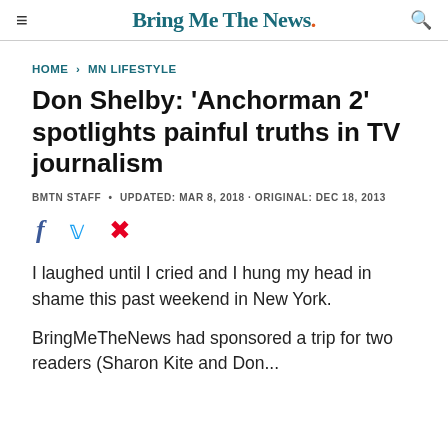Bring Me The News.
HOME › MN LIFESTYLE
Don Shelby: 'Anchorman 2' spotlights painful truths in TV journalism
BMTN STAFF • UPDATED: MAR 8, 2018 · ORIGINAL: DEC 18, 2013
[Figure (infographic): Social share icons: Facebook (f), Twitter (bird), Pinterest (P)]
I laughed until I cried and I hung my head in shame this past weekend in New York.
BringMeTheNews had sponsored a trip for two readers in (Sharon Kite and Deal...